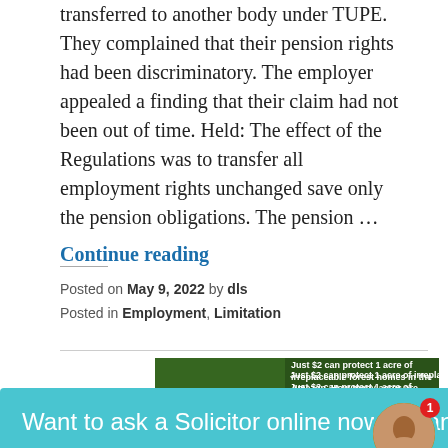transferred to another body under TUPE. They complained that their pension rights had been discriminatory. The employer appealed a finding that their claim had not been out of time. Held: The effect of the Regulations was to transfer all employment rights unchanged save only the pension obligations. The pension …
Continue reading
Posted on May 9, 2022 by dls
Posted in Employment, Limitation
[Figure (screenshot): Advertisement banner with dark green background showing forest imagery and text: 'Just $2 can protect 1 acre of irreplaceable forest homes in the Amazon. How many acres are you willing to protect?']
Want to ask a Solicitor online now? I can connect you ...